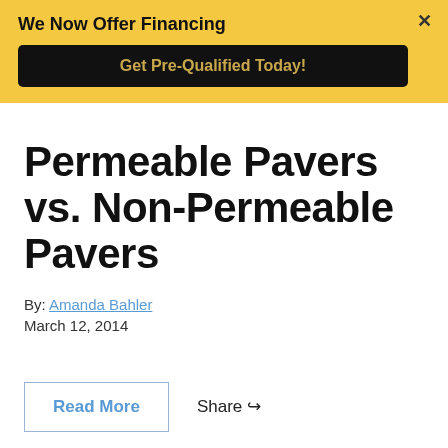We Now Offer Financing
Get Pre-Qualified Today!
Permeable Pavers vs. Non-Permeable Pavers
By: Amanda Bahler
March 12, 2014
Read More
Share